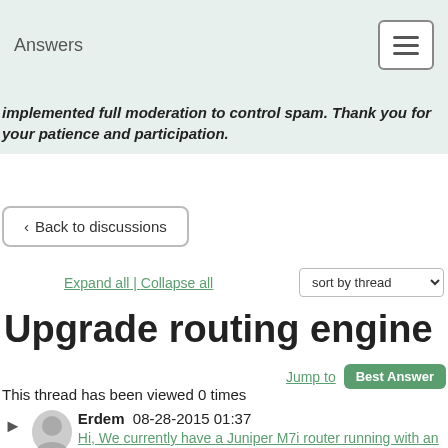Answers
implemented full moderation to control spam. Thank you for your patience and participation.
‹ Back to discussions
Expand all | Collapse all   sort by thread
Upgrade routing engine
Jump to   Best Answer
This thread has been viewed 0 times
Erdem  08-28-2015 01:37
Hi, We currently have a Juniper M7i router running with an RE-400 routing engine. The router r...